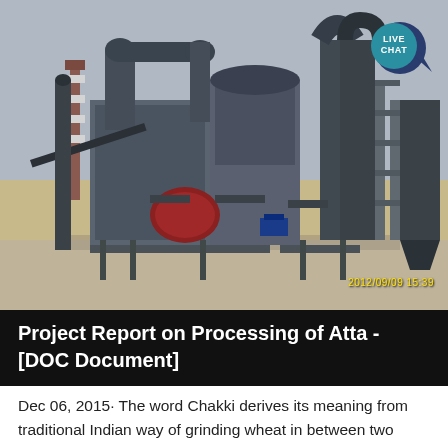[Figure (photo): Industrial milling plant with large dark metal machinery, pipes, cyclones and silos against a hazy sky. Timestamp reads 2012/09/09 15:39.]
Project Report on Processing of Atta - [DOC Document]
Dec 06, 2015· The word Chakki derives its meaning from traditional Indian way of grinding wheat in between two stone plates; modern day mills use stone crushers in the milling process Wheat powder / , atta, sooji, maidaIn India and Pakistan...